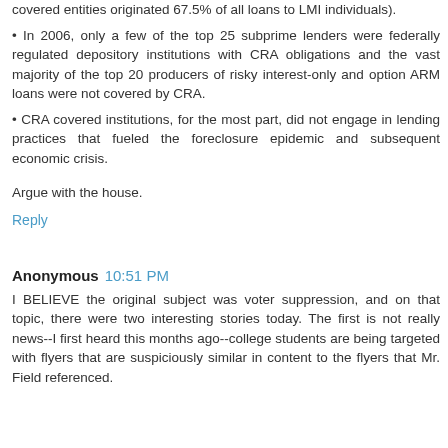covered entities originated 67.5% of all loans to LMI individuals).
In 2006, only a few of the top 25 subprime lenders were federally regulated depository institutions with CRA obligations and the vast majority of the top 20 producers of risky interest-only and option ARM loans were not covered by CRA.
CRA covered institutions, for the most part, did not engage in lending practices that fueled the foreclosure epidemic and subsequent economic crisis.
Argue with the house.
Reply
Anonymous  10:51 PM
I BELIEVE the original subject was voter suppression, and on that topic, there were two interesting stories today. The first is not really news--I first heard this months ago--college students are being targeted with flyers that are suspiciously similar in content to the flyers that Mr. Field referenced.